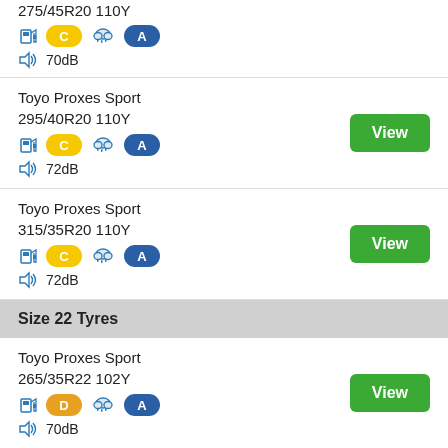275/45R20 110Y
C | cloud with rain | A | 70dB
Toyo Proxes Sport
295/40R20 110Y
C | cloud with rain | A | 72dB
Toyo Proxes Sport
315/35R20 110Y
C | cloud with rain | A | 72dB
Size 22 Tyres
Toyo Proxes Sport
265/35R22 102Y
D | cloud with rain | A | 70dB